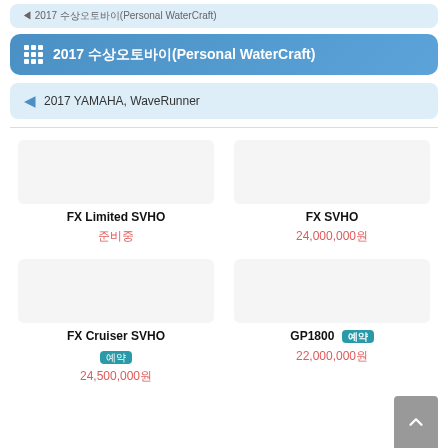2017 수상오토바이(Personal WaterCraft)
2017 수상오토바이(Personal WaterCraft)
2017 YAMAHA, WaveRunner
FX Limited SVHO
준비중
FX SVHO
24,000,000원
FX Cruiser SVHO
예약
24,500,000원
GP1800
예약
22,000,000원